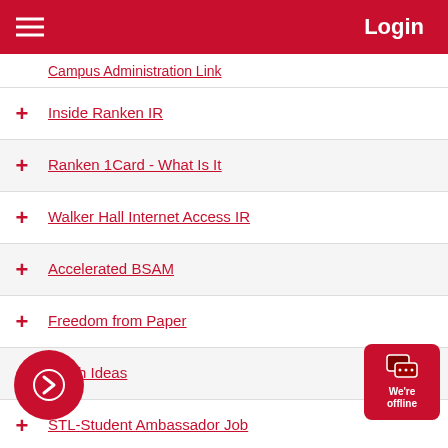Login
Campus Administration Link (partial, top cut off)
Inside Ranken IR
Ranken 1Card - What Is It
Walker Hall Internet Access IR
Accelerated BSAM
Freedom from Paper
Fresh Ideas
STL-Student Ambassador Job
WTZ-Student Ambassador Job
WTZ-Student Ambassador Application
-Online Student Ambassador Application (partial)
Student Success Center (SSC) (partial)